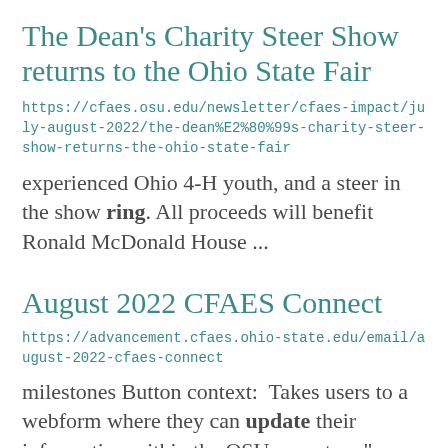The Dean's Charity Steer Show returns to the Ohio State Fair
https://cfaes.osu.edu/newsletter/cfaes-impact/july-august-2022/the-dean%E2%80%99s-charity-steer-show-returns-the-ohio-state-fair
experienced Ohio 4-H youth, and a steer in the show ring. All proceeds will benefit Ronald McDonald House ...
August 2022 CFAES Connect
https://advancement.cfaes.ohio-state.edu/email/august-2022-cfaes-connect
milestones Button context:  Takes users to a webform where they can update their information within the OSU ... system "